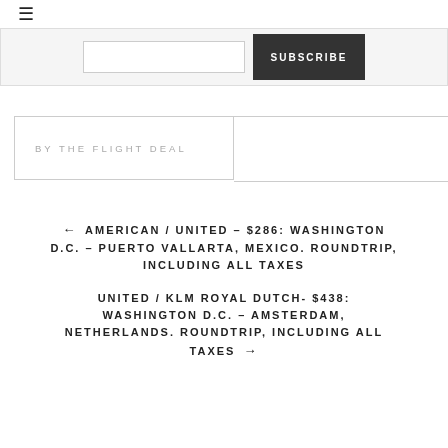≡
SUBSCRIBE
BY THE FLIGHT DEAL
← AMERICAN / UNITED – $286: WASHINGTON D.C. – PUERTO VALLARTA, MEXICO. ROUNDTRIP, INCLUDING ALL TAXES
UNITED / KLM ROYAL DUTCH- $438: WASHINGTON D.C. – AMSTERDAM, NETHERLANDS. ROUNDTRIP, INCLUDING ALL TAXES →